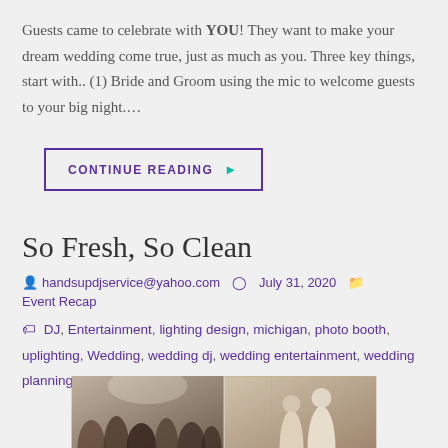Guests came to celebrate with YOU! They want to make your dream wedding come true, just as much as you. Three key things, start with.. (1) Bride and Groom using the mic to welcome guests to your big night....
CONTINUE READING ▶
So Fresh, So Clean
handsupdjservice@yahoo.com   July 31, 2020   Event Recap
DJ, Entertainment, lighting design, michigan, photo booth, uplighting, Wedding, wedding dj, wedding entertainment, wedding planning
[Figure (photo): Two side-by-side wedding photos showing guests dancing and a couple at a wedding reception]